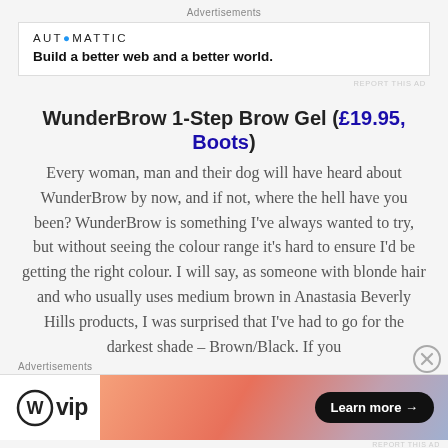Advertisements
[Figure (other): Automattic advertisement banner with logo text 'AUTOMATTIC' and tagline 'Build a better web and a better world.']
REPORT THIS AD
WunderBrow 1-Step Brow Gel (£19.95, Boots)
Every woman, man and their dog will have heard about WunderBrow by now, and if not, where the hell have you been? WunderBrow is something I've always wanted to try, but without seeing the colour range it's hard to ensure I'd be getting the right colour. I will say, as someone with blonde hair and who usually uses medium brown in Anastasia Beverly Hills products, I was surprised that I've had to go for the darkest shade – Brown/Black. If you
Advertisements
[Figure (logo): WordPress VIP logo with 'W' circle icon and 'vip' text, alongside a gradient advertisement banner with 'Learn more →' button]